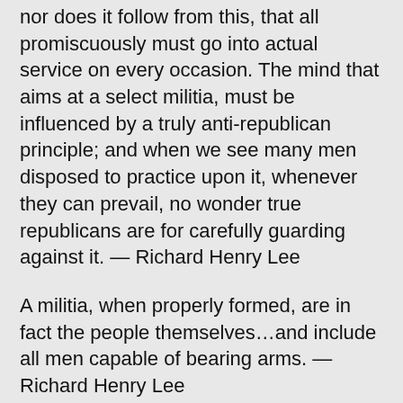nor does it follow from this, that all promiscuously must go into actual service on every occasion. The mind that aims at a select militia, must be influenced by a truly anti-republican principle; and when we see many men disposed to practice upon it, whenever they can prevail, no wonder true republicans are for carefully guarding against it. — Richard Henry Lee
A militia, when properly formed, are in fact the people themselves…and include all men capable of bearing arms. — Richard Henry Lee
No free government was ever founded, or ever preserved its liberty, without uniting